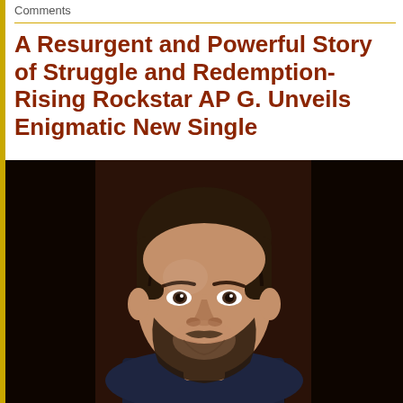Comments
A Resurgent and Powerful Story of Struggle and Redemption- Rising Rockstar AP G. Unveils Enigmatic New Single
[Figure (photo): Portrait photo of a smiling man with dark hair, beard and mustache, wearing a floral shirt, against a dark background]